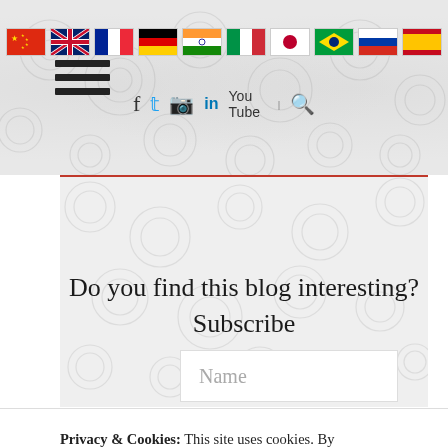[Figure (screenshot): Website header with flag icons for multiple countries (China, UK, France, Germany, India, Italy, Japan, Brazil, Russia, Spain), social media icons (Facebook, Twitter, Instagram, LinkedIn, YouTube, Search), hamburger menu icon, and decorative swirl background pattern]
Do you find this blog interesting? Subscribe
Name
Privacy & Cookies: This site uses cookies. By continuing to use this website, you agree to their use.
To find out more, including how to control cookies, see here: Cookie Policy
Close and accept